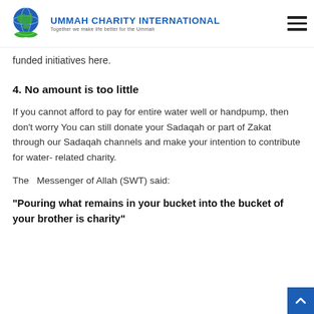UMMAH CHARITY INTERNATIONAL — Together we make life better for the Ummah
funded initiatives here.
4. No amount is too little
If you cannot afford to pay for entire water well or handpump, then don't worry You can still donate your Sadaqah or part of Zakat through our Sadaqah channels and make your intention to contribute for water- related charity.
The  Messenger of Allah (SWT) said:
“Pouring what remains in your bucket into the bucket of your brother is charity”